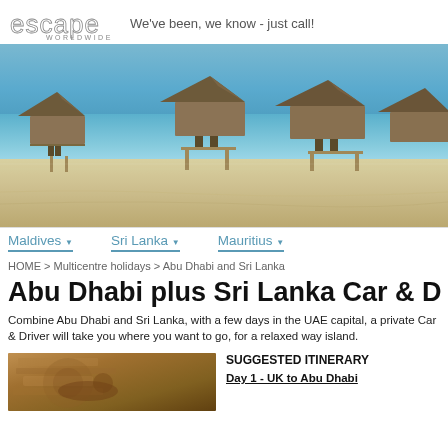escape WORLDWIDE — We've been, we know - just call!
[Figure (photo): Beach scene with overwater bungalows with thatched roofs, turquoise ocean water, white sandy beach]
Maldives  Sri Lanka  Mauritius
HOME > Multicentre holidays > Abu Dhabi and Sri Lanka
Abu Dhabi plus Sri Lanka Car & D
Combine Abu Dhabi and Sri Lanka, with a few days in the UAE capital, a private Car & Driver will take you where you want to go, for a relaxed way island.
[Figure (photo): Close-up of ancient stone carvings or ruins, brownish warm tones]
SUGGESTED ITINERARY
Day 1 - UK to Abu Dhabi